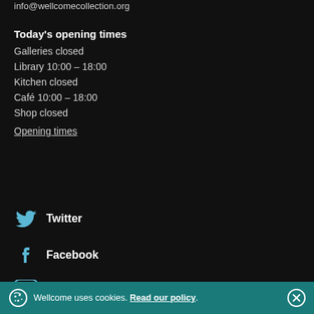info@wellcomecollection.org
Today's opening times
Galleries closed
Library 10:00 – 18:00
Kitchen closed
Café 10:00 – 18:00
Shop closed
Opening times
Twitter
Facebook
Instagram
Wellcome uses cookies. Read our policy